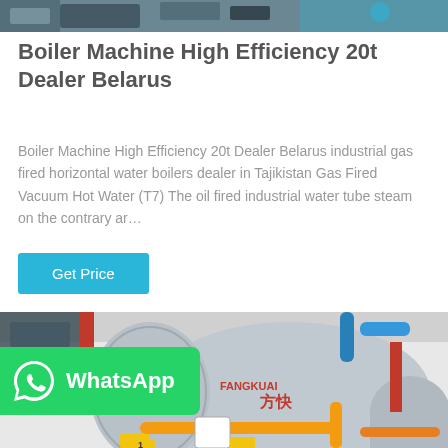[Figure (photo): Top portion of industrial boiler/equipment machinery photo, partially cropped]
Boiler Machine High Efficiency 20t Dealer Belarus
Boiler Machine High Efficiency 20t Dealer Belarus industrial gas fired horizontal water boilers dealer in Tajikistan Gas Fired Vacuum Hot Water (T7) The oil fired industrial water tube steam on the contrary ar…
[Figure (photo): Industrial boiler room with large cylindrical boilers branded FANGKUAI (方快), blue and red piping, yellow gas pipes, white wall background]
[Figure (logo): WhatsApp badge with green background, WhatsApp icon and text 'WhatsApp']